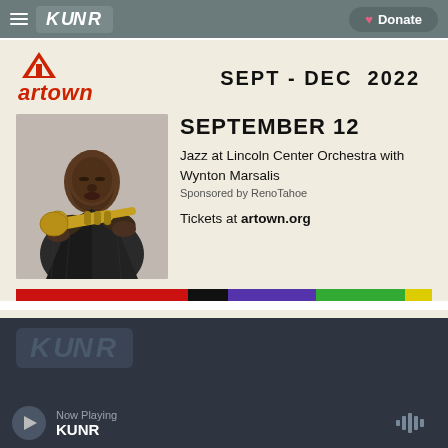KUNR - Donate
[Figure (logo): Artown logo with red triangle icon and red italic artown text, SEPT - DEC 2022 text]
[Figure (photo): Black and white photo of a man in a pinstripe suit playing a brass trumpet, looking downward]
SEPTEMBER 12
Jazz at Lincoln Center Orchestra with Wynton Marsalis
Sponsored by RenoTahoe
Tickets at artown.org
[Figure (infographic): Horizontal color bar with sections: red, black, purple, green, yellow]
Now Playing KUNR